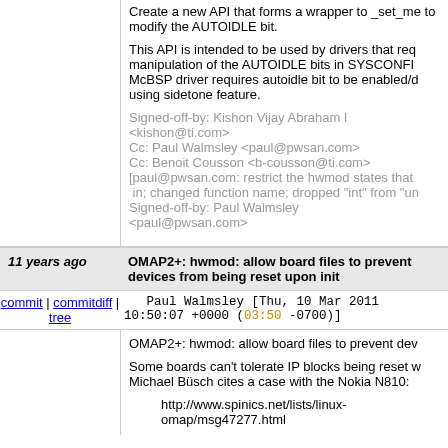Create a new API that forms a wrapper to _set_me to modify the AUTOIDLE bit.
This API is intended to be used by drivers that req manipulation of the AUTOIDLE bits in SYSCONFI McBSP driver requires autoidle bit to be enabled/d using sidetone feature.
Signed-off-by: Kishon Vijay Abraham I <kishon@ti.com>
Cc: Paul Walmsley <paul@pwsan.com>
Cc: Benoit Cousson <b-cousson@ti.com>
[paul@pwsan.com: restrict the hwmod states that  in; changed function name; dropped "int" from "un
Signed-off-by: Paul Walmsley <paul@pwsan.com>
11 years ago   OMAP2+: hwmod: allow board files to prevent devices from being reset upon init
commit | commitdiff | tree    Paul Walmsley [Thu, 10 Mar 2011 10:50:07 +0000 (03:50 -0700)]
OMAP2+: hwmod: allow board files to prevent dev
Some boards can't tolerate IP blocks being reset w Michael Büsch cites a case with the Nokia N810:
http://www.spinics.net/lists/linux-omap/msg47277.html